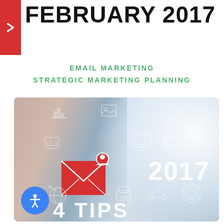FEBRUARY 2017
EMAIL MARKETING
STRATEGIC MARKETING PLANNING
[Figure (photo): Person pointing or writing on a digital screen with email marketing icons, including envelope with person icon, various tech icons, year '2017', and '4 TIPS' text overlay]